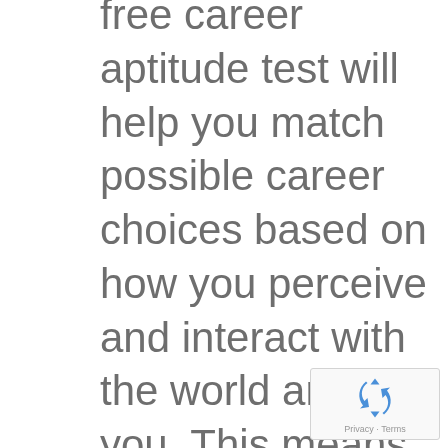free career aptitude test will help you match possible career choices based on how you perceive and interact with the world around you. This means that by being honest with yourself, you can easily be matched with a few careers out of about 1,000 career choices this test is embedded with. In other
[Figure (other): reCAPTCHA badge with recycling-arrow logo icon and 'Privacy - Terms' text]